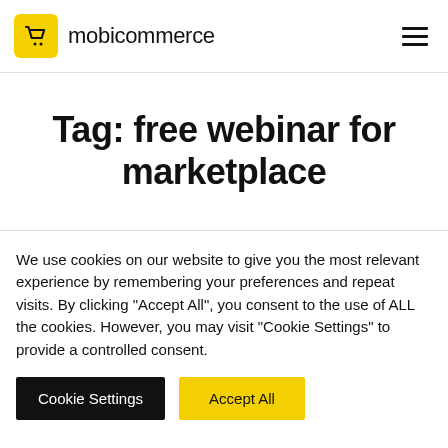mobicommerce
Tag: free webinar for marketplace
We use cookies on our website to give you the most relevant experience by remembering your preferences and repeat visits. By clicking "Accept All", you consent to the use of ALL the cookies. However, you may visit "Cookie Settings" to provide a controlled consent.
Cookie Settings | Accept All